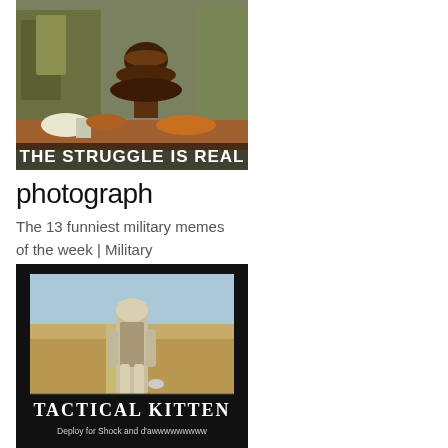[Figure (photo): Military personnel around a chocolate fountain at what appears to be a buffet or mess hall. Text overlay at bottom reads 'THE STRUGGLE IS REAL' in bold white letters.]
photograph
The 13 funniest military memes of the week | Military
[Figure (photo): Black background demotivational poster style image showing a soldier walking across a desert field with a small kitten. Title text reads 'TACTICAL KITTEN' and subtitle reads 'Deploy for Shock and d'awwwwwwwww']